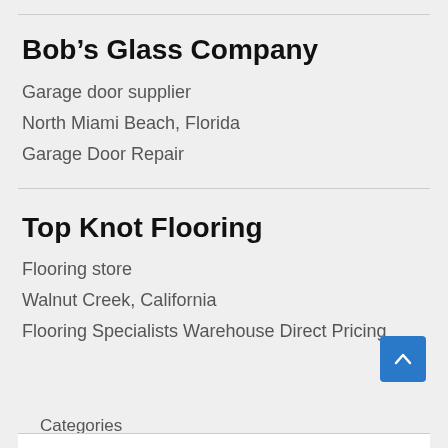Bob’s Glass Company
Garage door supplier
North Miami Beach, Florida
Garage Door Repair
Top Knot Flooring
Flooring store
Walnut Creek, California
Flooring Specialists Warehouse Direct Pricing
Categories